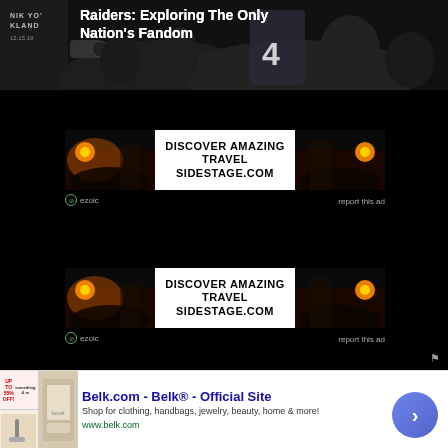[Figure (photo): Dark photo of Raiders football fans/crowd with player wearing jersey #4, overlaid with text 'Raiders: Exploring The Only Nation's Fandom']
Raiders: Exploring The Only Nation's Fandom
[Figure (infographic): Advertisement banner: DISCOVER AMAZING TRAVEL SIDESTAGE.COM with sunset/ocean landscape images on left and right sides]
ezoic   report this ad
[Figure (infographic): Advertisement banner (duplicate): DISCOVER AMAZING TRAVEL SIDESTAGE.COM with sunset/ocean landscape images on left and right sides]
ezoic   report this ad
[Figure (screenshot): Browser bottom ad bar for Belk.com - Belk Official Site. Text: 'Shop for clothing, handbags, jewelry, beauty, home & more! www.belk.com'. Shows product thumbnail images and a blue circular arrow button.]